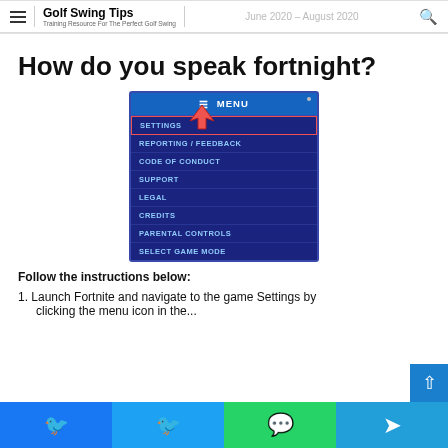Golf Swing Tips — Training Resource For The Perfect Golf Swing | June 2020 – August 2020
How do you speak fortnight?
[Figure (screenshot): Screenshot of a game menu (Fortnite) showing: MENU header, with items SETTINGS (highlighted with red border and red arrow), REPORTING / FEEDBACK, CODE OF CONDUCT, SUPPORT, LEGAL, CREDITS, PARENTAL CONTROLS, SELECT GAME MODE]
Follow the instructions below:
1. Launch Fortnite and navigate to the game Settings by clicking the menu icon in the...